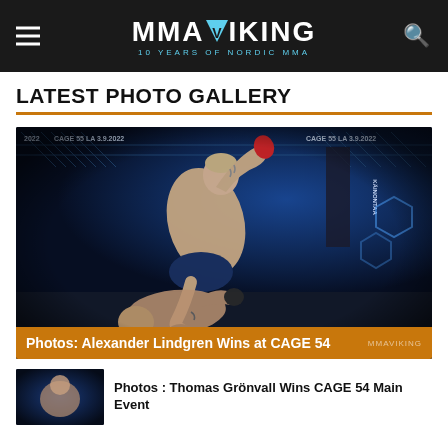MMA Viking — 10 Years of Nordic MMA
LATEST PHOTO GALLERY
[Figure (photo): MMA fight photo: Alexander Lindgren in action at CAGE 54 event, one fighter delivering a punch from top position in the octagon with blue lighting and CAGE 55 LA 3.9.2022 banners visible]
Photos: Alexander Lindgren Wins at CAGE 54
[Figure (photo): Thumbnail of Thomas Grönvall fight at CAGE 54 Main Event]
Photos : Thomas Grönvall Wins CAGE 54 Main Event